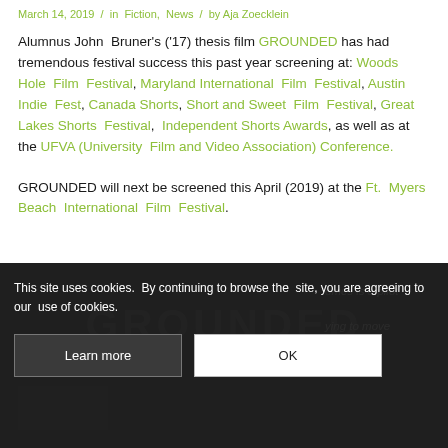March 14, 2019 / in Fiction, News / by Aja Zoecklein
Alumnus John Bruner's ('17) thesis film GROUNDED has had tremendous festival success this past year screening at: Woods Hole Film Festival, Maryland International Film Festival, Austin Indie Fest, Canada Shorts, Short and Sweet Film Festival, Great Lakes Shorts Festival, Independent Shorts Awards, as well as at the UFVA (University Film and Video Association) Conference.
GROUNDED will next be screened this April (2019) at the Ft. Myers Beach International Film Festival.
[Figure (screenshot): Dark background section showing partial GROUNDED film title and overlapping cookie consent dialog with 'Learn more' and 'OK' buttons. Faint italic text visible on the right side reading 'omes is a pilot' and 'ying to move' and 'into'.]